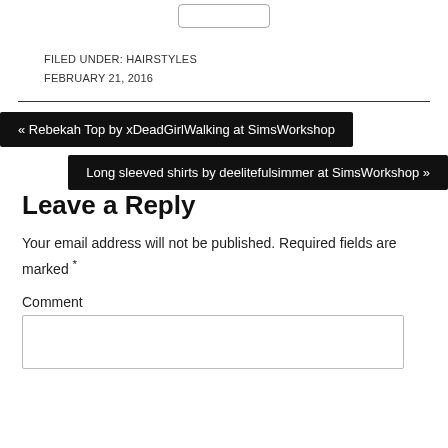[Figure (other): A small rounded-rectangle button outline at the top center of the page]
FILED UNDER: HAIRSTYLES
FEBRUARY 21, 2016
« Rebekah Top by xDeadGirlWalking at SimsWorkshop
Long sleeved shirts by deelitefulsimmer at SimsWorkshop »
Leave a Reply
Your email address will not be published. Required fields are marked *
Comment